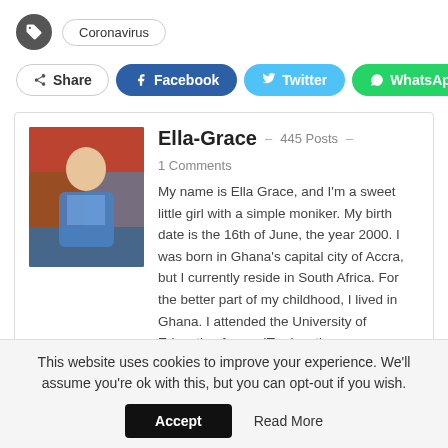Coronavirus
Share · Facebook · Twitter · WhatsApp
Ella-Grace · 445 Posts · 1 Comments
My name is Ella Grace, and I'm a sweet little girl with a simple moniker. My birth date is the 16th of June, the year 2000. I was born in Ghana's capital city of Accra, but I currently reside in South Africa. For the better part of my childhood, I lived in Ghana. I attended the University of Education for my IT education.
This website uses cookies to improve your experience. We'll assume you're ok with this, but you can opt-out if you wish. Accept  Read More